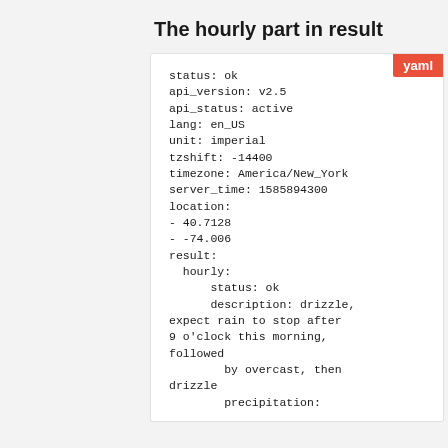The hourly part in result
status: ok
api_version: v2.5
api_status: active
lang: en_US
unit: imperial
tzshift: -14400
timezone: America/New_York
server_time: 1585894300
location:
- 40.7128
- -74.006
result:
  hourly:
      status: ok
      description: drizzle, expect rain to stop after 9 o'clock this morning, followed
              by overcast, then drizzle
      precipitation: